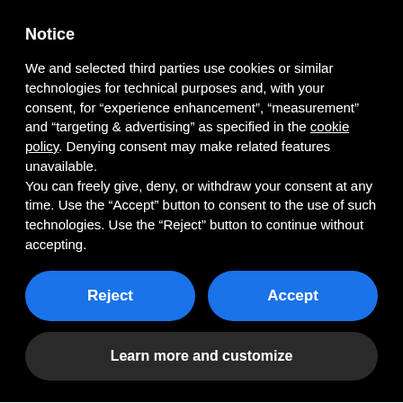Notice
We and selected third parties use cookies or similar technologies for technical purposes and, with your consent, for “experience enhancement”, “measurement” and “targeting & advertising” as specified in the cookie policy. Denying consent may make related features unavailable.
You can freely give, deny, or withdraw your consent at any time. Use the “Accept” button to consent to the use of such technologies. Use the “Reject” button to continue without accepting.
Reject
Accept
Learn more and customize
Feature tour
Try Twproject online